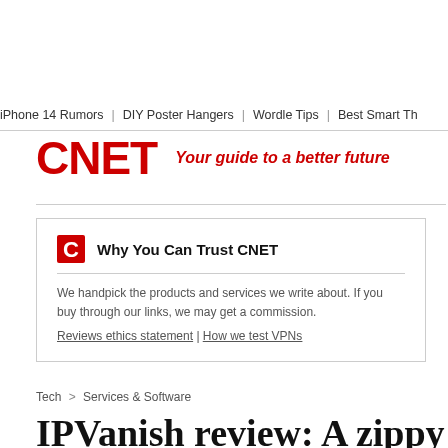iPhone 14 Rumors | DIY Poster Hangers | Wordle Tips | Best Smart Th
[Figure (logo): CNET logo in red bold text with tagline 'Your guide to a better future' in red italic]
Why You Can Trust CNET
We handpick the products and services we write about. If you buy through our links, we may get a commission. Reviews ethics statement | How we test VPNs
Tech > Services & Software
IPVanish review: A zippy